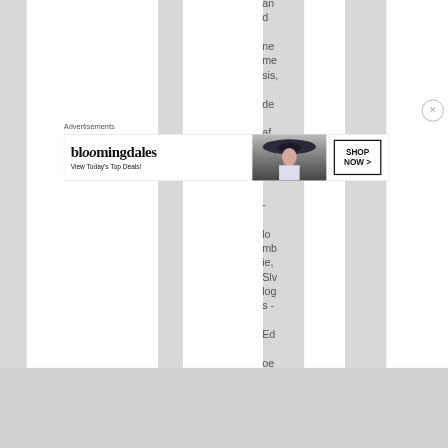and nemesis, de af cube - lombie, Slv logs - Ed oe
[Figure (advertisement): Bloomingdale's advertisement banner with logo, tagline 'View Today's Top Deals!', image of woman in large hat, and 'SHOP NOW >' button]
Advertisements